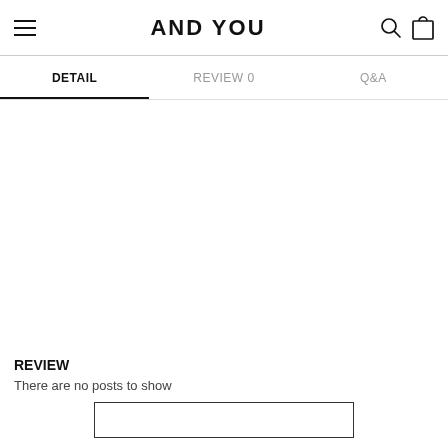AND YOU
DETAIL | REVIEW 0 | Q&A
REVIEW
There are no posts to show